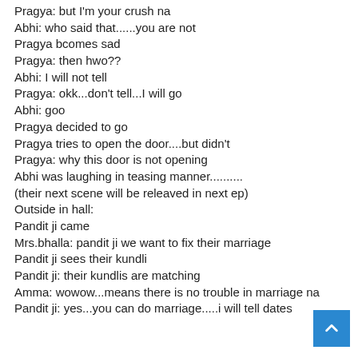Pragya: but I'm your crush na
Abhi: who said that......you are not
Pragya bcomes sad
Pragya: then hwo??
Abhi: I will not tell
Pragya: okk...don't tell...I will go
Abhi: goo
Pragya decided to go
Pragya tries to open the door....but didn't
Pragya: why this door is not opening
Abhi was laughing in teasing manner..........
(their next scene will be releaved in next ep)
Outside in hall:
Pandit ji came
Mrs.bhalla: pandit ji we want to fix their marriage
Pandit ji sees their kundli
Pandit ji: their kundlis are matching
Amma: wowow...means there is no trouble in marriage na
Pandit ji: yes...you can do marriage.....i will tell dates